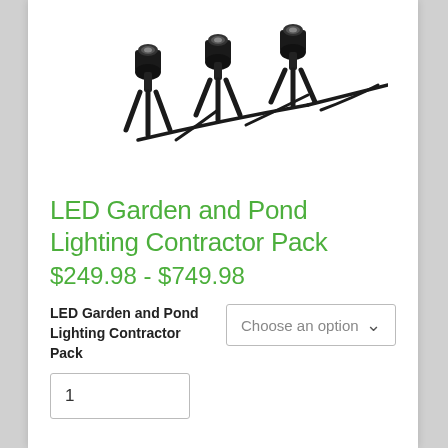[Figure (photo): Multiple black LED garden spotlight fixtures with ground stakes arranged in a group, photographed on white background]
LED Garden and Pond Lighting Contractor Pack
$249.98 - $749.98
LED Garden and Pond Lighting Contractor Pack
Choose an option
1